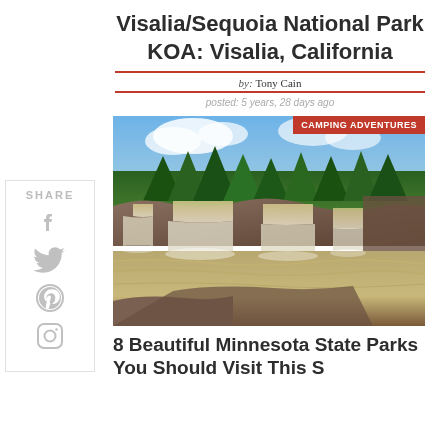Visalia/Sequoia National Park KOA: Visalia, California
by: Tony Cain
posted: 5 years, 28 days ago
[Figure (photo): A wide waterfall cascading over rocky ledges with trees along the top, under a partly cloudy blue sky. A red badge reads 'CAMPING ADVENTURES'.]
8 Beautiful Minnesota State Parks You Should Visit This S...